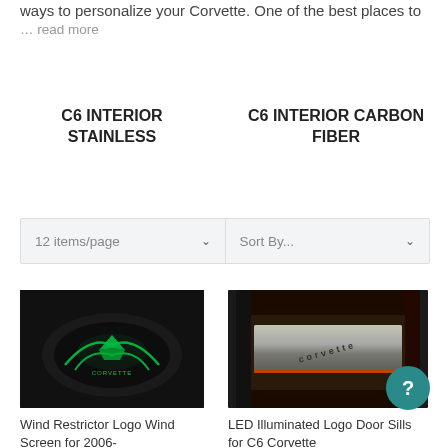ways to personalize your Corvette. One of the best places to
… read more
C6 INTERIOR STAINLESS
C6 INTERIOR CARBON FIBER
12 items/page
Sort By...
[Figure (photo): Wind restrictor logo wind screen for Corvette with green glowing Corvette emblem on dark interior]
Wind Restrictor Logo Wind Screen for 2006-
[Figure (photo): LED illuminated logo door sills for C6 Corvette showing metallic door sill plate with Corvette branding]
LED Illuminated Logo Door Sills for C6 Corvette